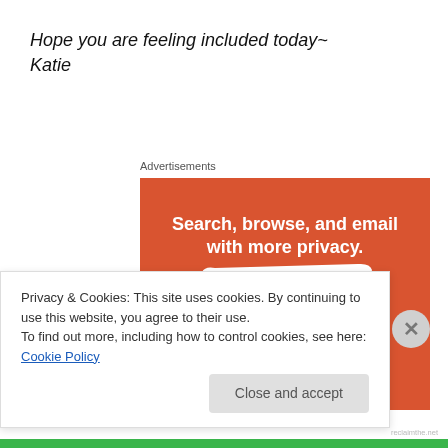Hope you are feeling included today~
Katie
Advertisements
[Figure (illustration): DuckDuckGo advertisement on orange background with text 'Search, browse, and email with more privacy. All in One Free App' and a phone graphic showing the DuckDuckGo duck logo.]
Privacy & Cookies: This site uses cookies. By continuing to use this website, you agree to their use.
To find out more, including how to control cookies, see here: Cookie Policy